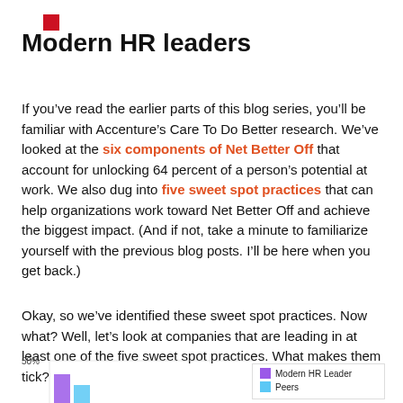[Figure (other): Small red square logo/icon in top left corner]
Modern HR leaders
If you’ve read the earlier parts of this blog series, you’ll be familiar with Accenture’s Care To Do Better research. We’ve looked at the six components of Net Better Off that account for unlocking 64 percent of a person’s potential at work. We also dug into five sweet spot practices that can help organizations work toward Net Better Off and achieve the biggest impact. (And if not, take a minute to familiarize yourself with the previous blog posts. I’ll be here when you get back.)
Okay, so we’ve identified these sweet spot practices. Now what? Well, let’s look at companies that are leading in at least one of the five sweet spot practices. What makes them tick?
[Figure (bar-chart): Partial bar chart visible at bottom of page showing a 50% axis label and legend with Modern HR Leader (purple) and Peers (blue) categories. Chart is cropped.]